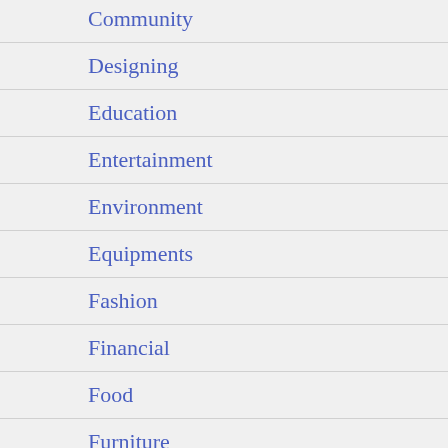Community
Designing
Education
Entertainment
Environment
Equipments
Fashion
Financial
Food
Furniture